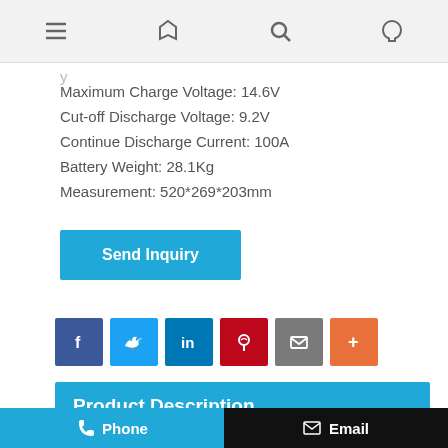Navigation bar with menu, flag, search, and user icons
Maximum Charge Voltage: 14.6V
Cut-off Discharge Voltage: 9.2V
Continue Discharge Current: 100A
Battery Weight: 28.1Kg
Measurement: 520*269*203mm
Send Inquiry
[Figure (infographic): Social sharing icons row: Facebook (blue), Twitter (light blue), LinkedIn (dark blue), Pinterest (red), Email (grey), Plus/More (orange)]
Product Description
lifepo4 battery 12v 200ah with Bluetooth
Specification:
Model: VTC 4L F200
Phone | Email